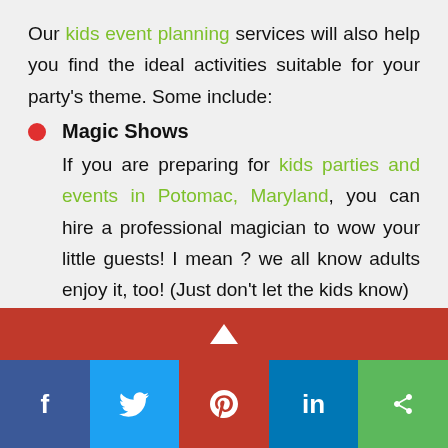Our kids event planning services will also help you find the ideal activities suitable for your party's theme. Some include:
Magic Shows
If you are preparing for kids parties and events in Potomac, Maryland, you can hire a professional magician to wow your little guests! I mean ? we all know adults enjoy it, too! (Just don't let the kids know)